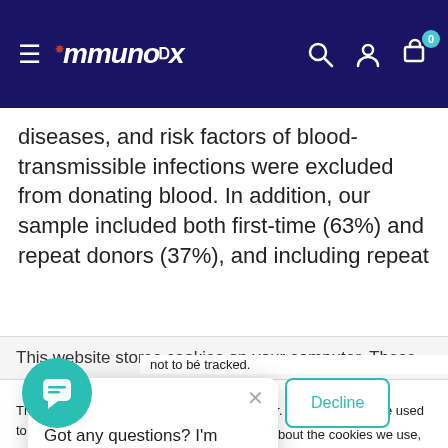ImmunoDx navigation bar with logo and icons
diseases, and risk factors of blood-transmissible infections were excluded from donating blood. In addition, our sample included both first-time (63%) and repeat donors (37%), and including repeat
This website stores cookies on your computer. These
This website stores cookies on your computer. These cookies are used to collect information about how you interact with our website and allow us to remember you. We use this information in order to improve and customize your browsing experience for analytics and metrics about our visitors both on this website... about the cookies we use, see our... won't be tracked... single cookie will be... per your preference not to be tracked.
Got any questions? I'm happy to help.